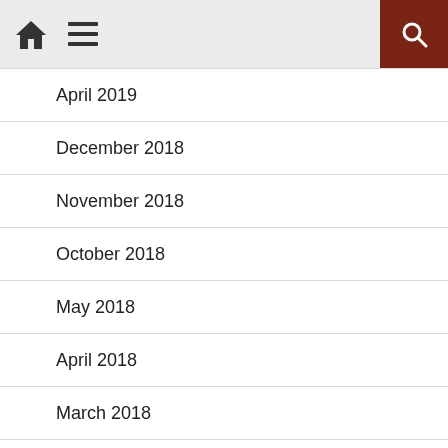Navigation bar with home icon, menu icon, and search button
April 2019
December 2018
November 2018
October 2018
May 2018
April 2018
March 2018
December 2017
November 2017
October 2017